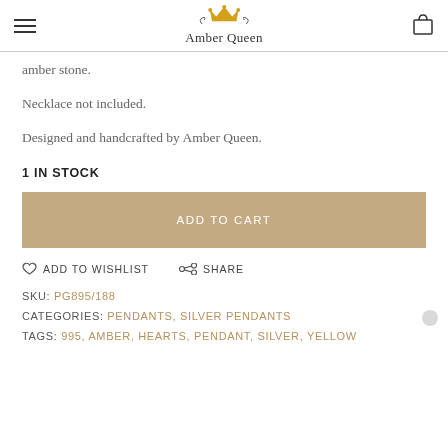Amber Queen
amber stone.
Necklace not included.
Designed and handcrafted by Amber Queen.
1 IN STOCK
ADD TO CART
ADD TO WISHLIST   SHARE
SKU: PG895/188
CATEGORIES: PENDANTS, SILVER PENDANTS
TAGS: 925, AMBER, HEARTS, PENDANT, SILVER, YELLOW